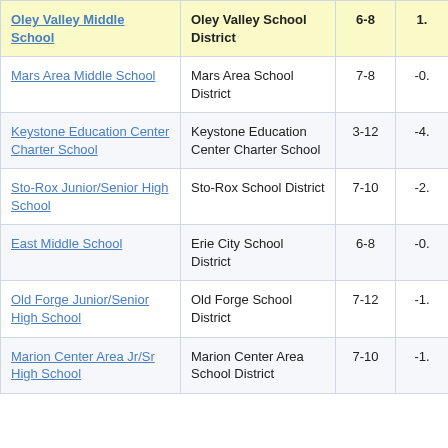| School | District | Grades | Score |
| --- | --- | --- | --- |
| Oley Valley Middle School | Oley Valley School District | 6-8 | 1. |
| Mars Area Middle School | Mars Area School District | 7-8 | -0. |
| Keystone Education Center Charter School | Keystone Education Center Charter School | 3-12 | -4. |
| Sto-Rox Junior/Senior High School | Sto-Rox School District | 7-10 | -2. |
| East Middle School | Erie City School District | 6-8 | -0. |
| Old Forge Junior/Senior High School | Old Forge School District | 7-12 | -1. |
| Marion Center Area Jr/Sr High School | Marion Center Area School District | 7-10 | -1. |